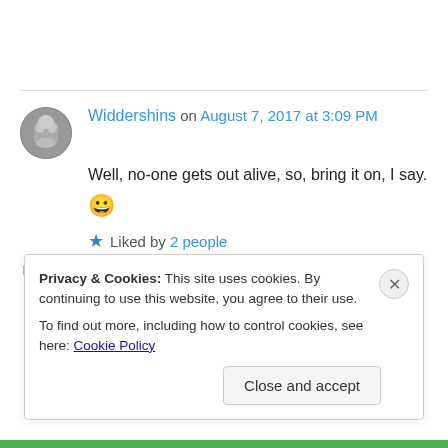Widdershins on August 7, 2017 at 3:09 PM
Well, no-one gets out alive, so, bring it on, I say. 😀
Liked by 2 people
↳ Reply
Privacy & Cookies: This site uses cookies. By continuing to use this website, you agree to their use. To find out more, including how to control cookies, see here: Cookie Policy
Close and accept